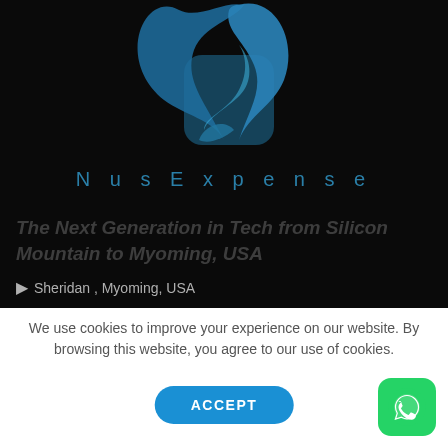[Figure (logo): NusExpense logo — abstract swirling blue shapes resembling a stylized letter N or twisted ribbons over a dark background]
NusExpense
The Next Generation in Tech from Silicon Mountain to Myoming, USA
Sheridan , Myoming, USA
We use cookies to improve your experience on our website. By browsing this website, you agree to our use of cookies.
ACCEPT
[Figure (logo): WhatsApp icon — white phone handset with speech bubble on green rounded square background]